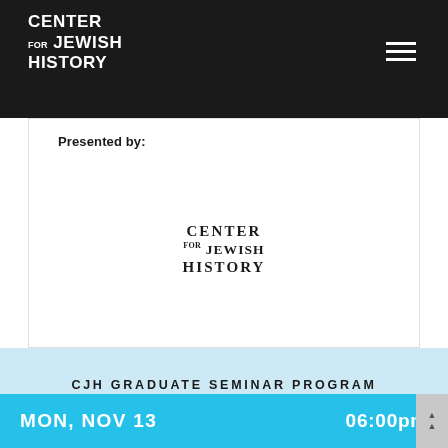CENTER FOR JEWISH HISTORY
Presented by:
[Figure (logo): Center for Jewish History logo — text reads CENTER / for JEWISH / HISTORY in serif font]
CJH GRADUATE SEMINAR PROGRAM
MON, NOV 13   06:00pm